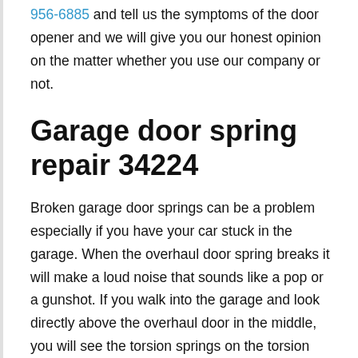956-6885 and tell us the symptoms of the door opener and we will give you our honest opinion on the matter whether you use our company or not.
Garage door spring repair 34224
Broken garage door springs can be a problem especially if you have your car stuck in the garage. When the overhaul door spring breaks it will make a loud noise that sounds like a pop or a gunshot. If you walk into the garage and look directly above the overhaul door in the middle, you will see the torsion springs on the torsion tube. If there is a break in one of the overhaul door springs, then you have a broken spring